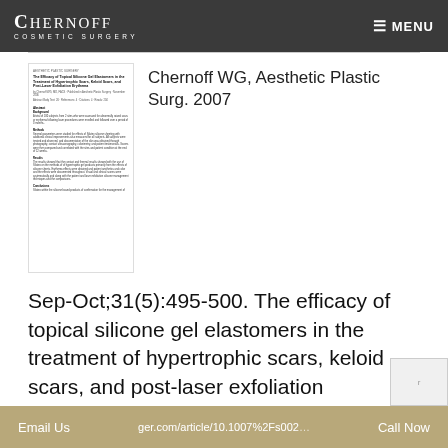CHERNOFF COSMETIC SURGERY — MENU
[Figure (screenshot): Thumbnail image of a medical journal article page]
Chernoff WG, Aesthetic Plastic Surg. 2007
Sep-Oct;31(5):495-500. The efficacy of topical silicone gel elastomers in the treatment of hypertrophic scars, keloid scars, and post-laser exfoliation erythema.
Email Us   ger.com/article/10.1007%2Fs002…   Call Now